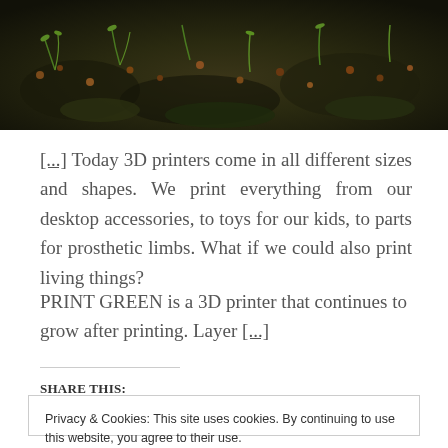[Figure (photo): Close-up photo of moss, seeds, and small green sprouts growing on dark soil or bark]
[...] Today 3D printers come in all different sizes and shapes. We print everything from our desktop accessories, to toys for our kids, to parts for prosthetic limbs. What if we could also print living things?
PRINT GREEN is a 3D printer that continues to grow after printing. Layer [...]
SHARE THIS:
Privacy & Cookies: This site uses cookies. By continuing to use this website, you agree to their use.
To find out more, including how to control cookies, see here: Cookie Policy